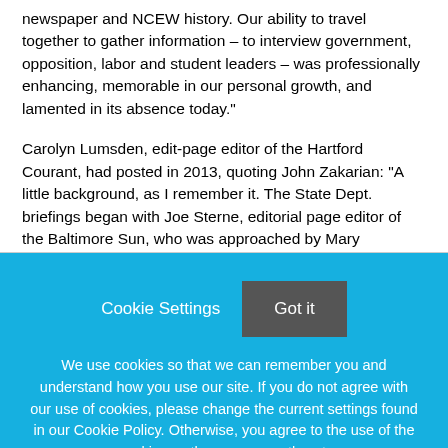newspaper and NCEW history. Our ability to travel together to gather information – to interview government, opposition, labor and student leaders – was professionally enhancing, memorable in our personal growth, and lamented in its absence today."
Carolyn Lumsden, edit-page editor of the Hartford Courant, had posted in 2013, quoting John Zakarian: "A little background, as I remember it. The State Dept. briefings began with Joe Sterne, editorial page editor of the Baltimore Sun, who was approached by Mary Kennedy. The first few years it was a small, select group … [two] invites to the White House for Reagan and Bush chats. ...
Cookie Settings | Got it
We use cookies so that we can remember you and understand how you use our site. If you do not agree with our use of cookies, please change the current settings found in our Cookie Policy. Otherwise, you agree to the use of the cookies as they are currently set.